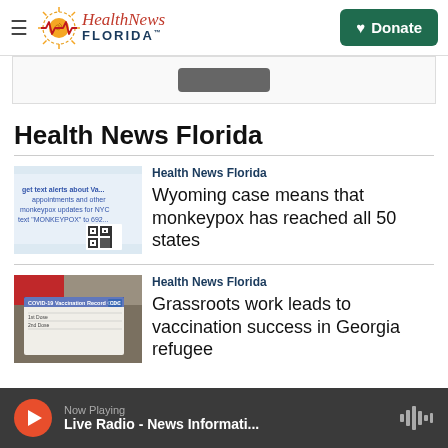Health News Florida
[Figure (screenshot): Ad banner placeholder with dark button]
Health News Florida
[Figure (photo): Image showing text about monkeypox vaccine alerts and QR code]
Health News Florida
Wyoming case means that monkeypox has reached all 50 states
[Figure (photo): COVID-19 Vaccination Record Card on dark background]
Health News Florida
Grassroots work leads to vaccination success in Georgia refugee
Now Playing
Live Radio - News Informati...